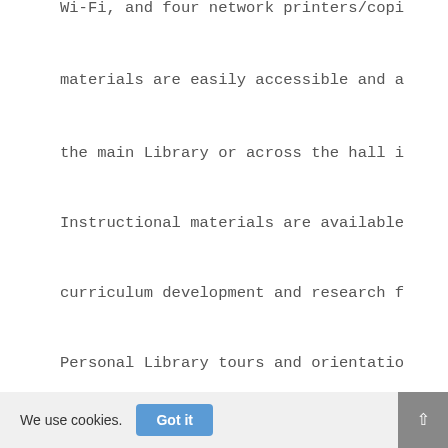Wi-Fi, and four network printers/copi materials are easily accessible and a the main Library or across the hall i Instructional materials are available curriculum development and research f Personal Library tours and orientatio available upon request.
The Collections
The Library collects books and other the subject areas of critical studi...
We use cookies.
Got it